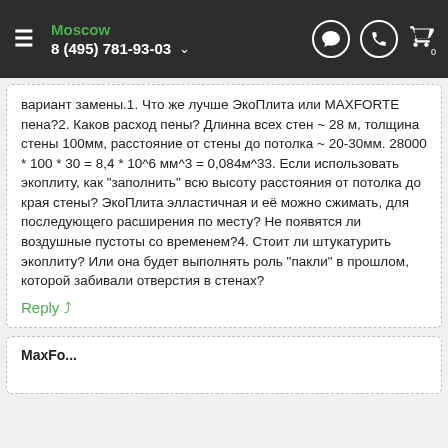Moscow | 8 (495) 781-93-03
вариант замены.1. Что же лучше ЭкоПлита или MAXFORTE пена?2. Каков расход пены? Длинна всех стен ~ 28 м, толщина стены 100мм, расстояние от стены до потолка ~ 20-30мм. 28000 * 100 * 30 = 8,4 * 10^6 мм^3 = 0,084м^33. Если использовать экоплиту, как "заполнить" всю высоту расстояния от потолка до края стены? ЭкоПлита элластичная и её можно сжимать, для последующего расширения по месту? Не появятся ли воздушные пустоты со временем?4. Стоит ли штукатурить экоплиту? Или она будет выполнять роль "пакли" в прошлом, которой забивали отверстия в стенах?
Reply